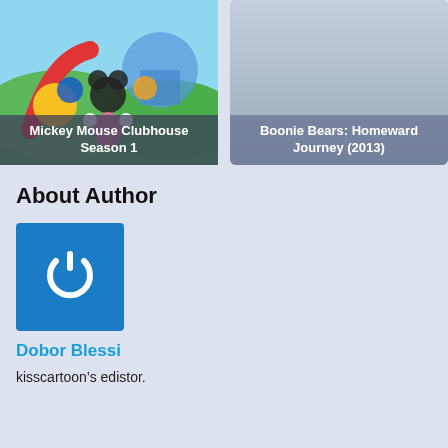[Figure (screenshot): Mickey Mouse Clubhouse Season 1 thumbnail with cartoon characters]
Mickey Mouse Clubhouse Season 1
[Figure (illustration): Boonie Bears: Homeward Journey (2013) placeholder thumbnail with blue-gray gradient]
Boonie Bears: Homeward Journey (2013)
About Author
[Figure (logo): Blue square with white power button icon - Dobor Blessi author avatar]
Dobor Blessi
kisscartoon’s edistor.